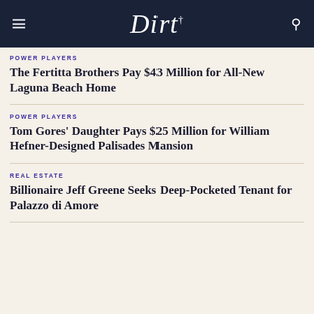Dirt
POWER PLAYERS
The Fertitta Brothers Pay $43 Million for All-New Laguna Beach Home
POWER PLAYERS
Tom Gores' Daughter Pays $25 Million for William Hefner-Designed Palisades Mansion
REAL ESTATE
Billionaire Jeff Greene Seeks Deep-Pocketed Tenant for Palazzo di Amore